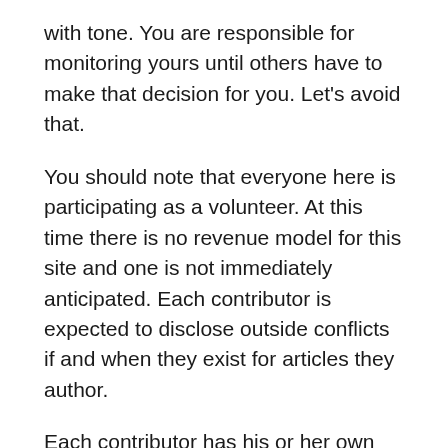with tone. You are responsible for monitoring yours until others have to make that decision for you. Let's avoid that.
You should note that everyone here is participating as a volunteer. At this time there is no revenue model for this site and one is not immediately anticipated. Each contributor is expected to disclose outside conflicts if and when they exist for articles they author.
Each contributor has his or her own reason for doing this as an unpaid avocation. How much of that is articulated publicly will be up to them. As publisher, I will address my own reasons in a separate personal post.
Above all, those that have been asked to participate here as authors and contributors are here not because of a common agenda, but because we can agree on a